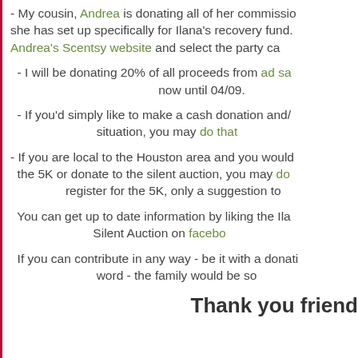- My cousin, Andrea is donating all of her commissions she has set up specifically for Ilana's recovery fund. Andrea's Scentsy website and select the party ca
- I will be donating 20% of all proceeds from ad sa now until 04/09.
- If you'd simply like to make a cash donation and/ situation, you may do that
- If you are local to the Houston area and you would the 5K or donate to the silent auction, you may do register for the 5K, only a suggestion to
You can get up to date information by liking the Ila Silent Auction on facebo
If you can contribute in any way - be it with a donati word - the family would be so
Thank you friend